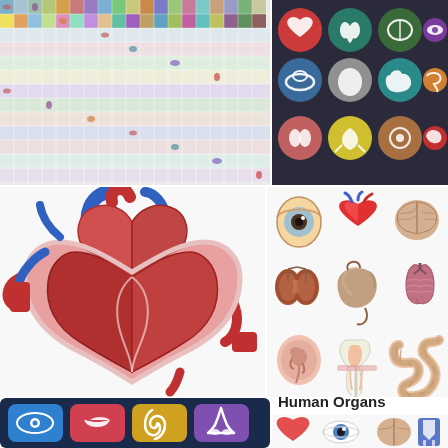[Figure (illustration): Collage of small colorful human organ icons arranged in a grid pattern]
[Figure (illustration): Dark background with circular flat-design icons of human organs: heart, lungs, brain, eye, pelvis, bladder, stomach, intestine, kidneys, uterus, gallbladder, liver]
[Figure (illustration): Detailed anatomical cross-section illustration of a human heart showing chambers, arteries in red and blue]
[Figure (illustration): 3D realistic illustrations of human organs in two columns: eye, heart, brain (top row); kidneys, stomach, lungs (middle row); uterus/fetus, tooth cross-section, intestines (bottom row)]
[Figure (illustration): Dark navy tablet/screen showing flat icon buttons for eye, lips, ear, and nose sense organs]
Human Organs
[Figure (illustration): Bottom row of Human Organs set showing partial organ illustrations including heart, eye, brain, and tooth]